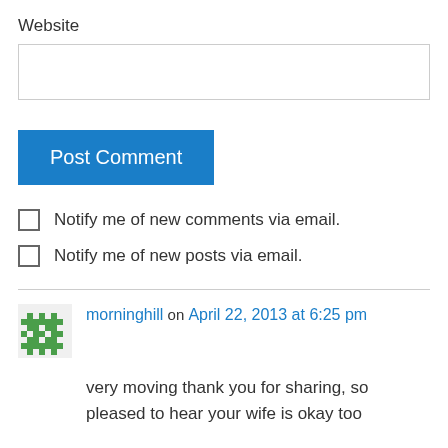Website
Post Comment
Notify me of new comments via email.
Notify me of new posts via email.
morninghill on April 22, 2013 at 6:25 pm
very moving thank you for sharing, so pleased to hear your wife is okay too
↳ Reply